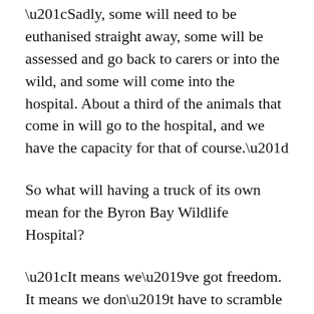“Sadly, some will need to be euthanised straight away, some will be assessed and go back to carers or into the wild, and some will come into the hospital. About a third of the animals that come in will go to the hospital, and we have the capacity for that of course.”
So what will having a truck of its own mean for the Byron Bay Wildlife Hospital?
“It means we’ve got freedom. It means we don’t have to scramble around and find out if someone is available. When we get that call, they are going to need us there now. It could be anywhere in Australia, and we need to be able to hit the road as quickly as possible.
“When wildlife gets injured, time is critical. If you leave a